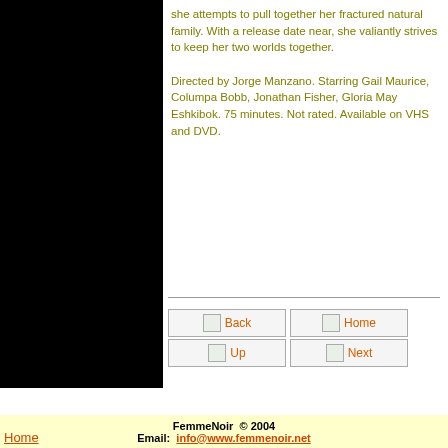she attempts to pull together her fractured natural family. With a release date near, she valiantly strives to keep her two worlds together.

Directed by Jorge Manzano. Starring Gail Maurice, Columpa Bobb, Jonathan Fisher, Gloria May Eshkibok. 75 minutes. Not rated. Available on VHS and DVD.
[Figure (other): Navigation buttons: Back, Home, Up, Next arranged in a 2x2 grid]
FemmeNoir © 2004 Email: info@www.femmenoir.net
Home